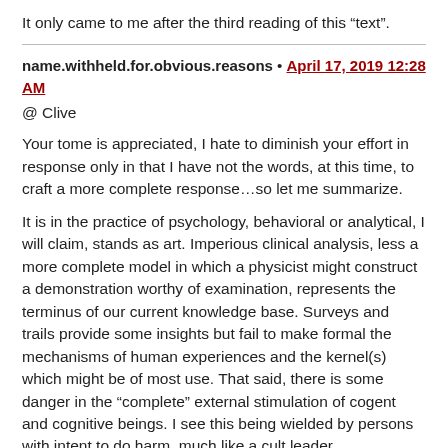It only came to me after the third reading of this “text”.
name.withheld.for.obvious.reasons • April 17, 2019 12:28 AM
@ Clive

Your tome is appreciated, I hate to diminish your effort in response only in that I have not the words, at this time, to craft a more complete response…so let me summarize.

It is in the practice of psychology, behavioral or analytical, I will claim, stands as art. Imperious clinical analysis, less a more complete model in which a physicist might construct a demonstration worthy of examination, represents the terminus of our current knowledge base. Surveys and trails provide some insights but fail to make formal the mechanisms of human experiences and the kernel(s) which might be of most use. That said, there is some danger in the “complete” external stimulation of cogent and cognitive beings. I see this being wielded by persons with intent to do harm, much like a cult leader.